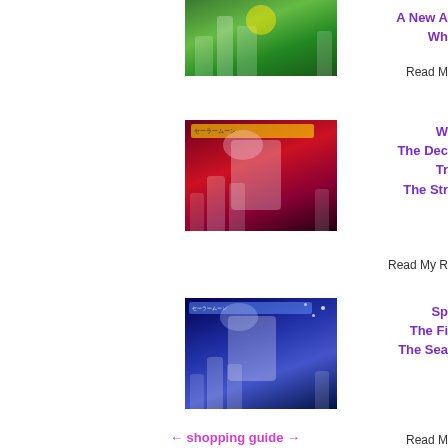[Figure (photo): Sailor Moon musical/theatrical poster with green background and costumed performers]
A New A
Wh
Read M
[Figure (photo): Sailor Moon musical poster with red/pink dramatic background, Japanese text, costumed performers]
W
The Dec
Tr
The Str
Read My R
[Figure (photo): Sailor Moon musical poster with blue/purple space-themed background, Japanese text, costumed performers]
Sp
The Fi
The Sea
Read M
← shopping guide →